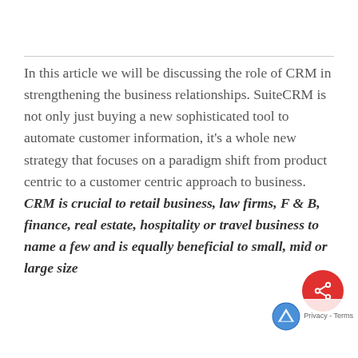In this article we will be discussing the role of CRM in strengthening the business relationships. SuiteCRM is not only just buying a new sophisticated tool to automate customer information, it's a whole new strategy that focuses on a paradigm shift from product centric to a customer centric approach to business. CRM is crucial to retail business, law firms, F & B, finance, real estate, hospitality or travel business to name a few and is equally beneficial to small, mid or large size